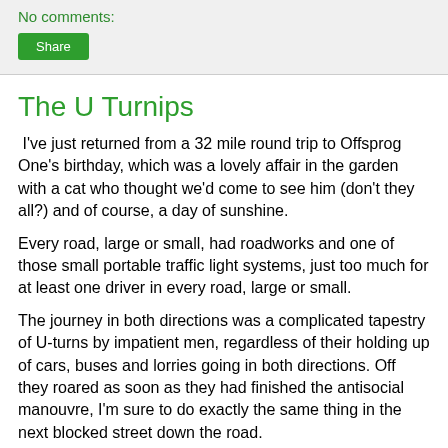No comments:
Share
The U Turnips
I've just returned from a 32 mile round trip to Offsprog One's birthday, which was a lovely affair in the garden with a cat who thought we'd come to see him (don't they all?) and of course, a day of sunshine.
Every road, large or small, had roadworks and one of those small portable traffic light systems, just too much for at least one driver in every road, large or small.
The journey in both directions was a complicated tapestry of U-turns by impatient men, regardless of their holding up of cars, buses and lorries going in both directions. Off they roared as soon as they had finished the antisocial manouvre, I'm sure to do exactly the same thing in the next blocked street down the road.